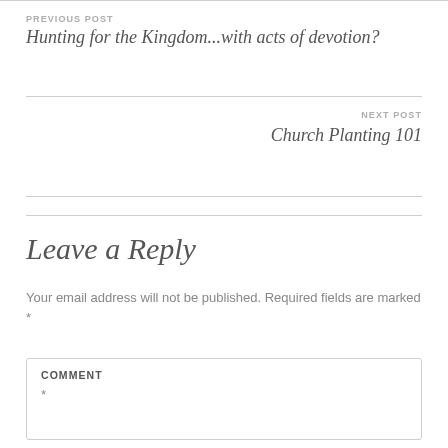PREVIOUS POST
Hunting for the Kingdom...with acts of devotion?
NEXT POST
Church Planting 101
Leave a Reply
Your email address will not be published. Required fields are marked *
COMMENT *